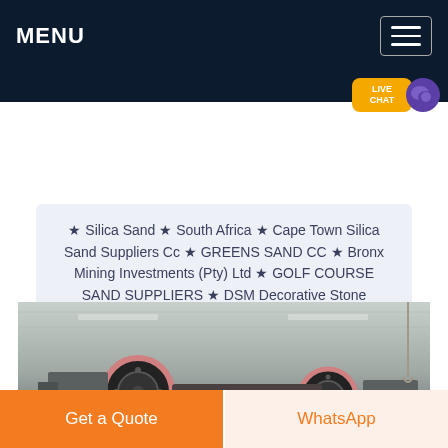MENU
★ Silica Sand ★ South Africa ★ Cape Town Silica Sand Suppliers Cc ★ GREENS SAND CC ★ Bronx Mining Investments (Pty) Ltd ★ GOLF COURSE SAND SUPPLIERS ★ DSM Decorative Stone Masonry ★ amber sand, You are in Please select the language you prefer:
[Figure (photo): Industrial machinery/mining equipment in a factory or warehouse setting, showing large mechanical pulleys or wheel components.]
Get a Quote
WhatsApp